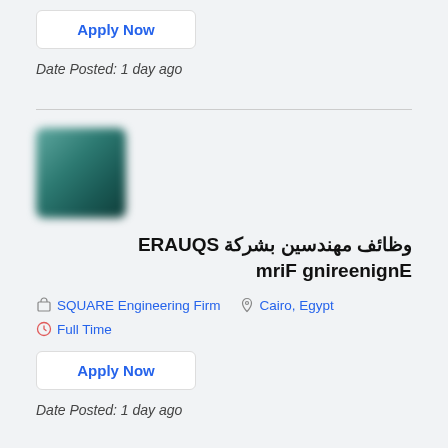Apply Now
Date Posted: 1 day ago
[Figure (logo): Blurred teal/dark green company logo square]
وظائف مهندسين بشركة SQUARE Engineering Firm
SQUARE Engineering Firm   Cairo, Egypt   Full Time
Apply Now
Date Posted: 1 day ago